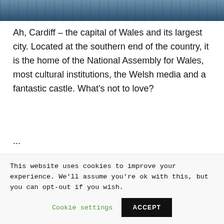[Figure (photo): Partial view of a modern building with glass facade and blue tones, cropped at the top of the page]
Ah, Cardiff – the capital of Wales and its largest city. Located at the southern end of the country, it is the home of the National Assembly for Wales, most cultural institutions, the Welsh media and a fantastic castle. What's not to love?
...
READ MORE
This website uses cookies to improve your experience. We'll assume you're ok with this, but you can opt-out if you wish.
Cookie settings
ACCEPT